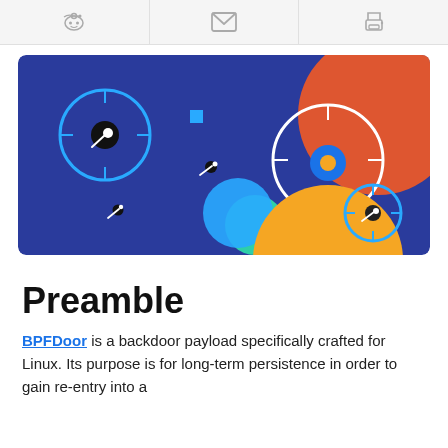[icons: reddit, email, print]
[Figure (illustration): Dark blue background illustration with space/targeting theme. Features crosshair/target circles in blue and white, a large orange circle top-right, a yellow circle bottom-center, a teal/blue circle bottom-left, and comet/cursor icons scattered across.]
Preamble
BPFDoor is a backdoor payload specifically crafted for Linux. Its purpose is for long-term persistence in order to gain re-entry into a